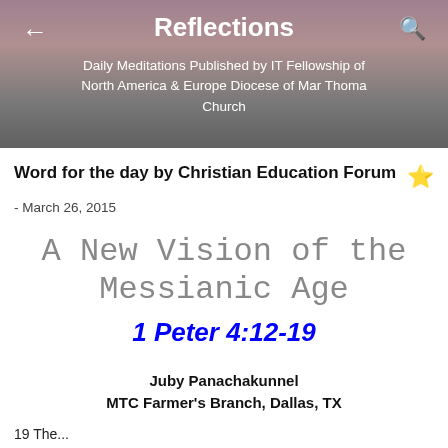Reflections
Daily Meditations Published by IT Fellowship of North America & Europe Diocese of Mar Thoma Church
Word for the day by Christian Education Forum
- March 26, 2015
A New Vision of the Messianic Age
1 Peter 4:12-19
Juby Panachakunnel
MTC Farmer's Branch, Dallas, TX
19 The...